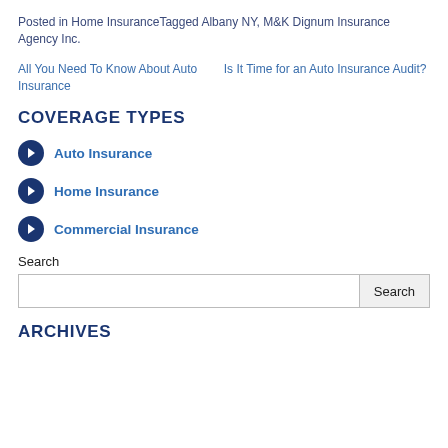Posted in Home InsuranceTagged Albany NY, M&K Dignum Insurance Agency Inc.
All You Need To Know About Auto Insurance
Is It Time for an Auto Insurance Audit?
COVERAGE TYPES
Auto Insurance
Home Insurance
Commercial Insurance
Search
ARCHIVES